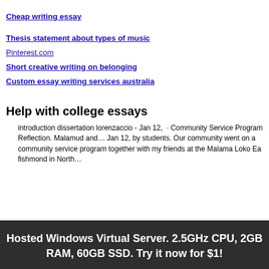Cheap writing essay
Thesis statement about types of music
Pinterest.com
Short creative writing on belonging
Custom essay writing services australia
Help with college essays
introduction dissertation lorenzaccio - Jan 12,  · Community Service Program Reflection. Malamud and… Jan 12, by students. Our community went on a community service program together with my friends at the Malama Loko Ea fishmond in North…
Hosted Windows Virtual Server. 2.5GHz CPU, 2GB RAM, 60GB SSD. Try it now for $1!